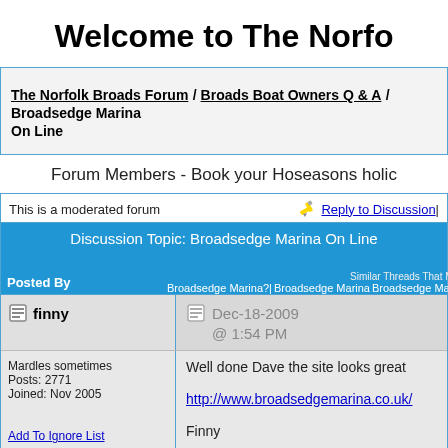Welcome to The Norfo
The Norfolk Broads Forum / Broads Boat Owners Q & A / Broadsedge Marina On Line
Forum Members - Book your Hoseasons holic
This is a moderated forum
Discussion Topic: Broadsedge Marina On Line
Posted By
finny
Dec-18-2009 @ 1:54 PM
Mardles sometimes
Posts: 2771
Joined: Nov 2005
Well done Dave the site looks great

http://www.broadsedgemarina.co.uk/

Finny